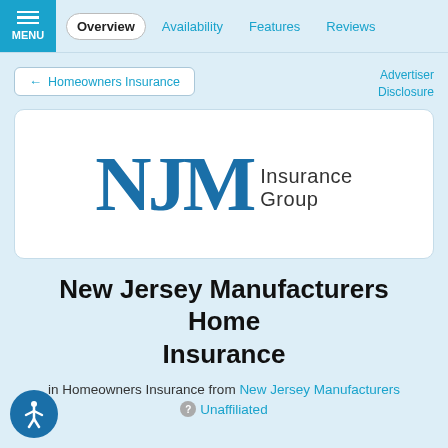MENU | Overview | Availability | Features | Reviews
← Homeowners Insurance
Advertiser Disclosure
[Figure (logo): NJM Insurance Group logo — large blue serif letters NJM followed by 'Insurance Group' in dark sans-serif text]
New Jersey Manufacturers Home Insurance
in Homeowners Insurance from New Jersey Manufacturers
Unaffiliated